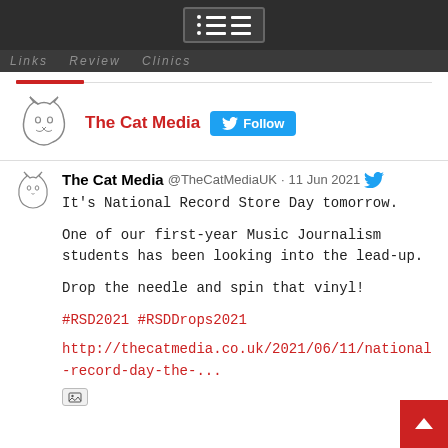Menu icon / navigation bar
Links  Review  Clinics
[Figure (logo): The Cat Media logo - outline of a cat head]
The Cat Media  Follow
The Cat Media @TheCatMediaUK · 11 Jun 2021
It's National Record Store Day tomorrow.

One of our first-year Music Journalism students has been looking into the lead-up.

Drop the needle and spin that vinyl!

#RSD2021 #RSDDrops2021

http://thecatmedia.co.uk/2021/06/11/national-record-day-the-...